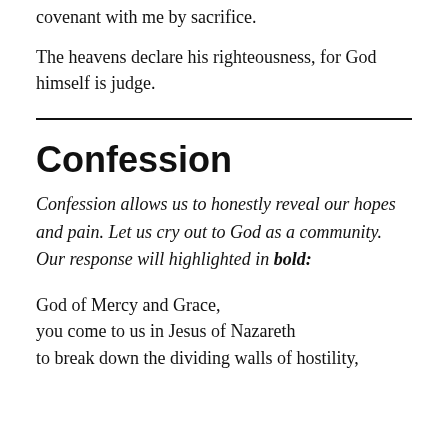covenant with me by sacrifice.
The heavens declare his righteousness, for God himself is judge.
Confession
Confession allows us to honestly reveal our hopes and pain. Let us cry out to God as a community. Our response will highlighted in bold:
God of Mercy and Grace,
you come to us in Jesus of Nazareth
to break down the dividing walls of hostility,